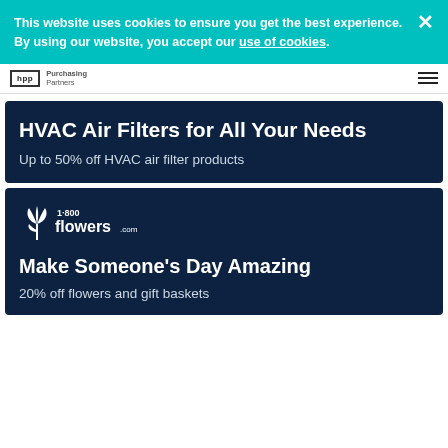This website uses cookies to ensure you get the best experience. By using our website, you accept our use of cookies.
hpp | Purchasing Partners
HVAC Air Filters for All Your Needs
Up to 50% off HVAC air filter products
[Figure (logo): 1-800-flowers.com logo with stylized flower icon]
Make Someone's Day Amazing
20% off flowers and gift baskets